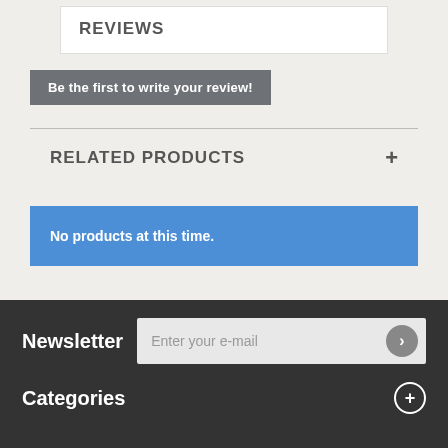REVIEWS
Be the first to write your review!
RELATED PRODUCTS
No products at this time.
Newsletter
Enter your e-mail
Categories